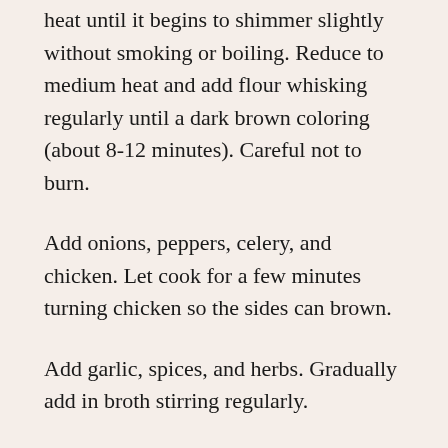heat until it begins to shimmer slightly without smoking or boiling. Reduce to medium heat and add flour whisking regularly until a dark brown coloring (about 8-12 minutes). Careful not to burn.
Add onions, peppers, celery, and chicken. Let cook for a few minutes turning chicken so the sides can brown.
Add garlic, spices, and herbs. Gradually add in broth stirring regularly.
Reduce heat to low and cover pot. Let simmer stirring occasionally for about 1 hour.
Shred chicken into large pieces, return to pot and add tomatoes and okra. Cook covered for additional